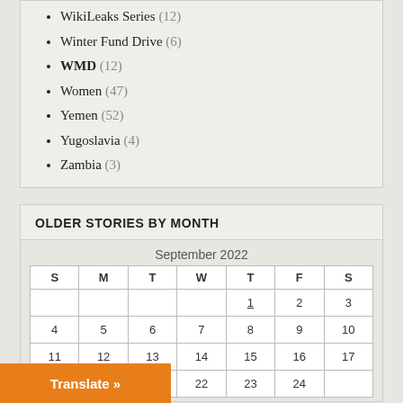WikiLeaks Series (12)
Winter Fund Drive (6)
WMD (12)
Women (47)
Yemen (52)
Yugoslavia (4)
Zambia (3)
OLDER STORIES BY MONTH
| S | M | T | W | T | F | S |
| --- | --- | --- | --- | --- | --- | --- |
|  |  |  |  | 1 | 2 | 3 |
| 4 | 5 | 6 | 7 | 8 | 9 | 10 |
| 11 | 12 | 13 | 14 | 15 | 16 | 17 |
|  | 20 | 21 | 22 | 23 | 24 |  |